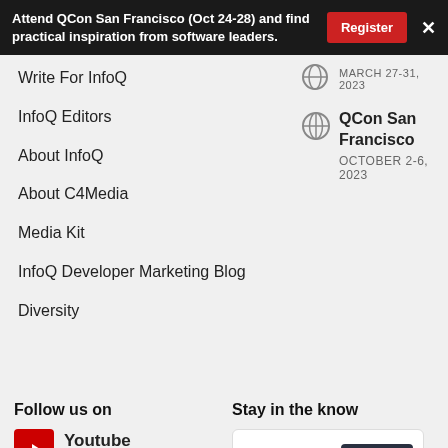Attend QCon San Francisco (Oct 24-28) and find practical inspiration from software leaders. Register ×
Write For InfoQ
InfoQ Editors
About InfoQ
About C4Media
Media Kit
InfoQ Developer Marketing Blog
Diversity
QCon San Francisco
OCTOBER 2-6, 2023
Follow us on
Youtube
212K Followers
Linkedin
18K Followers
RSS
Stay in the know
The InfoQ Podcast